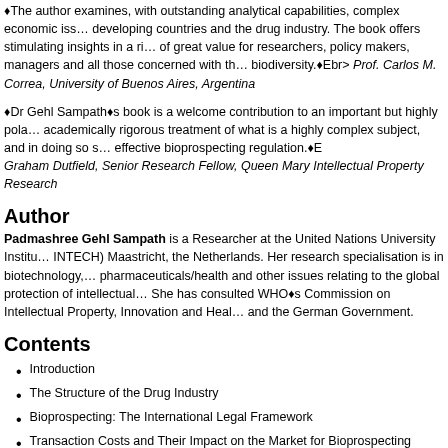The author examines, with outstanding analytical capabilities, complex economic issues in developing countries and the drug industry. The book offers stimulating insights in a rigorous and of great value for researchers, policy makers, managers and all those concerned with the biodiversity. Ebr> Prof. Carlos M. Correa, University of Buenos Aires, Argentina
Dr Gehl Sampath's book is a welcome contribution to an important but highly polarized area. academically rigorous treatment of what is a highly complex subject, and in doing so s effective bioprospecting regulation. Graham Dutfield, Senior Research Fellow, Queen Mary Intellectual Property Research
Author
Padmashree Gehl Sampath is a Researcher at the United Nations University Institute (INTECH) Maastricht, the Netherlands. Her research specialisation is in biotechnology, pharmaceuticals/health and other issues relating to the global protection of intellectual property. She has consulted WHO's Commission on Intellectual Property, Innovation and Health and the German Government.
Contents
Introduction
The Structure of the Drug Industry
Bioprospecting: The International Legal Framework
Transaction Costs and Their Impact on the Market for Bioprospecting
Defining an Intellectual Property Right on Traditional Medicinal Knowledge
The Scope of the Right to Regulate Access
Conclusions and Policy Recommendations
Go Back
UNU home